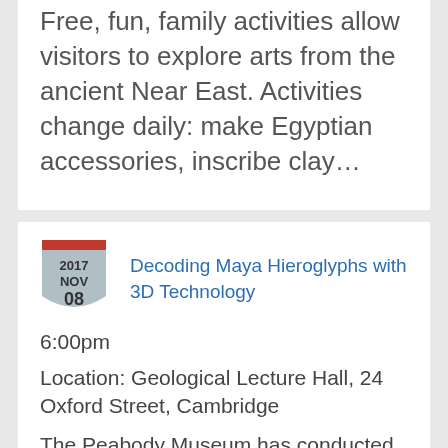Free, fun, family activities allow visitors to explore arts from the ancient Near East. Activities change daily: make Egyptian accessories, inscribe clay…
Decoding Maya Hieroglyphs with 3D Technology
6:00pm
Location: Geological Lecture Hall, 24 Oxford Street, Cambridge
The Peabody Museum has conducted archaeological research